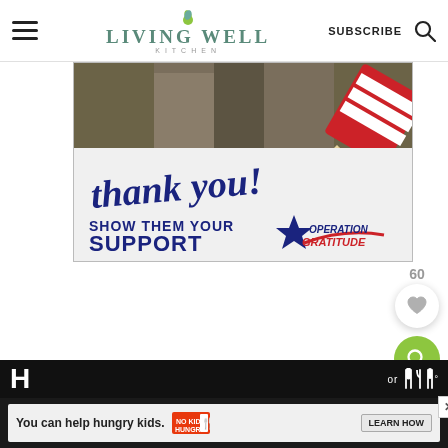Living Well Kitchen — SUBSCRIBE
[Figure (illustration): Operation Gratitude promotional banner: soldiers in background, handwritten 'thank you!' text with a red-white-blue pencil illustration, bold text 'SHOW THEM YOUR SUPPORT' and Operation Gratitude logo]
[Figure (infographic): Floating UI elements: '60' count badge, white circular heart/save button, green circular search button]
[Figure (infographic): Bottom advertisement bar: 'You can help hungry kids.' with No Kid Hungry logo and 'LEARN HOW' button on dark background strip, with close X button]